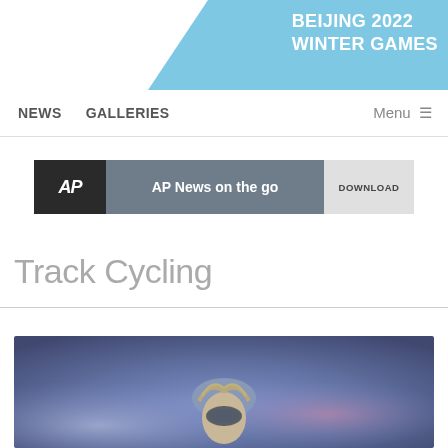BEIJING 2022 WINTER GAMES
NEWS   GALLERIES   Menu
[Figure (screenshot): AP News on the go advertisement banner with AP logo, dark background with silhouetted figures, and DOWNLOAD button]
Track Cycling
[Figure (photo): Close-up photo of a cyclist wearing a helmet, blurred colorful background]